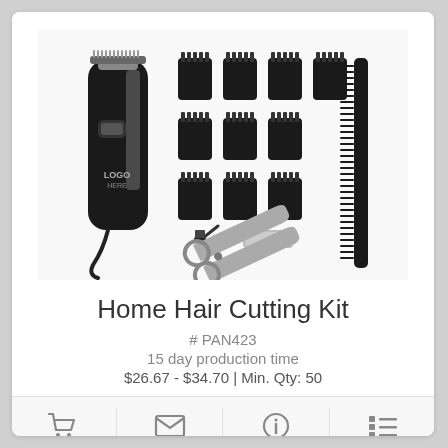[Figure (photo): Home Hair Cutting Kit product photo showing a black electric hair clipper, 9 guide combs in rows, a comb, scissors, cleaning brush, and blade guard on white background. The clipper has a 'LOGO HERE' placeholder.]
Home Hair Cutting Kit
# PAN423
15 day production time
$26.67 - $34.70 | Min. Qty: 50
[Figure (infographic): Footer bar with four icons: shopping cart, envelope/email, info circle, and list/menu icon]